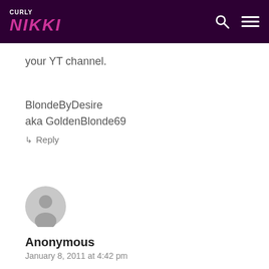CURLY NIKKI
your YT channel.
BlondeByDesire
aka GoldenBlonde69
↳ Reply
[Figure (illustration): Anonymous user avatar — grey circle with silhouette of a person]
Anonymous
January 8, 2011 at 4:42 pm
love this! Trying it this weekend. Gorgette